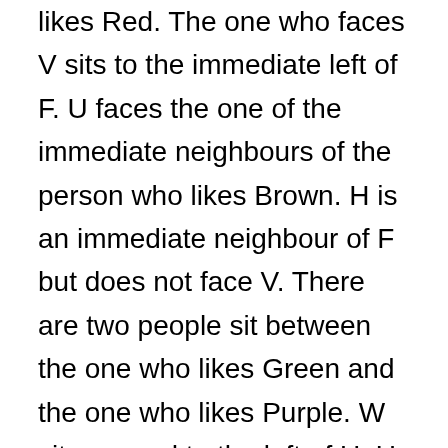likes Red. The one who faces V sits to the immediate left of F. U faces the one of the immediate neighbours of the person who likes Brown. H is an immediate neighbour of F but does not face V. There are two people sit between the one who likes Green and the one who likes Purple. W sits second to the left of U. U faces the one who is an immediate neighbour of D. There are two people sit between the one who likes Pink and the one who likes Brown. G is not an immediate neighbour of D. G does not sit at the extreme end of the row. The one who likes orange sits in the middle between the one who likes Pink and the one who likes White. X does not face H. The one who likes Pink faces the one who likes Green. There are two people sit between the one who likes Red and the